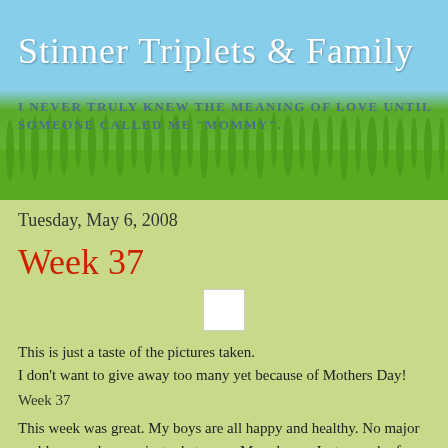Stinner Triplets & Family
I NEVER TRULY KNEW THE MEANING OF LOVE UNTIL SOMEONE CALLED ME "MOMMY".
Tuesday, May 6, 2008
Week 37
[Figure (photo): Small white placeholder image]
This is just a taste of the pictures taken.
I don't want to give away too many yet because of Mothers Day!
Week 37
This week was great. My boys are all happy and healthy. No major problems or dramas, just what every Mom loves. Just a week of happy babies.